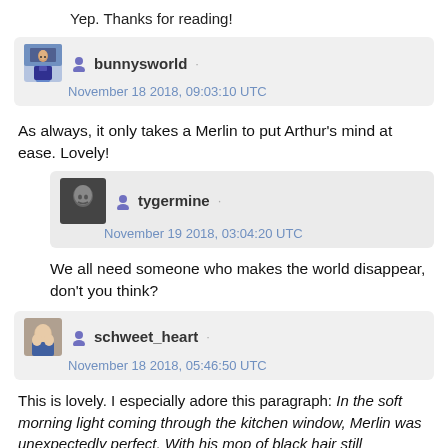Yep. Thanks for reading!
bunnysworld · November 18 2018, 09:03:10 UTC
As always, it only takes a Merlin to put Arthur's mind at ease. Lovely!
tygermine · November 19 2018, 03:04:20 UTC
We all need someone who makes the world disappear, don't you think?
schweet_heart · November 18 2018, 05:46:50 UTC
This is lovely. I especially adore this paragraph: In the soft morning light coming through the kitchen window, Merlin was unexpectedly perfect. With his mop of black hair still